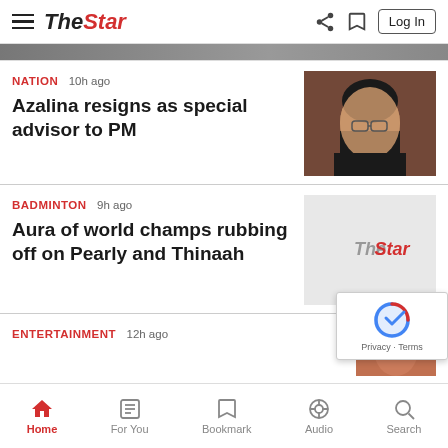The Star
NATION 10h ago
Azalina resigns as special advisor to PM
[Figure (photo): Photo of Azalina, a woman with glasses in a dark blazer]
BADMINTON 9h ago
Aura of world champs rubbing off on Pearly and Thinaah
[Figure (logo): The Star logo placeholder for badminton article]
ENTERTAINMENT 12h ago
Home  For You  Bookmark  Audio  Search